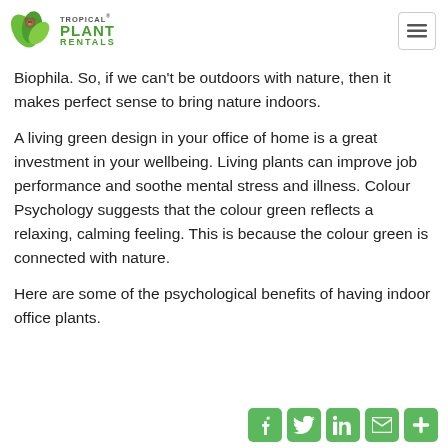[Figure (logo): Tropical Plant Rentals logo with green leaves and text]
Biophila. So, if we can't be outdoors with nature, then it makes perfect sense to bring nature indoors.
A living green design in your office of home is a great investment in your wellbeing. Living plants can improve job performance and soothe mental stress and illness. Colour Psychology suggests that the colour green reflects a relaxing, calming feeling. This is because the colour green is connected with nature.
Here are some of the psychological benefits of having indoor office plants.
[Figure (infographic): Social media sharing icons: Facebook, Twitter, LinkedIn, Email, More — green rounded square buttons]